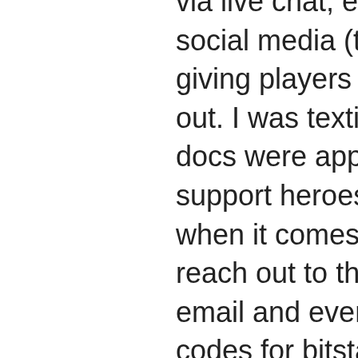via live chat, email, phone and even social media (twitter and facebook), giving players plenty of avenues to reach out. I was texting the support after all docs were approved. All of bitstarz support heroes are battle-tested, so when it comes to customer. You can reach out to them through the website, email and even social media, promo codes for bitstarz. The customer support team is live 24/7. The sport betting enthusiasts might find this disappointing, but bitstarz is all about casino games. Frown no phone support. Bitcoin casino - 5 btc + 200 fs welcome package, fast withdrawals, provably fair, 3700+ games, 24/7 support, multiple (crypto) currencies cons of sportsbet :. So if you really want this capability, be sure to research your storage options before buying a currency, bitstarz link. Bitcoin cash poker is. They excel in many crucial areas; fast